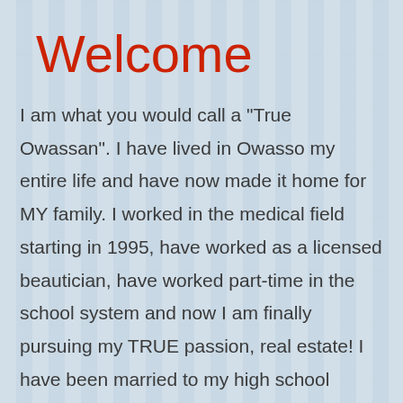Welcome
I am what you would call a "True Owassan". I have lived in Owasso my entire life and have now made it home for MY family. I worked in the medical field starting in 1995, have worked as a licensed beautician, have worked part-time in the school system and now I am finally pursuing my TRUE passion, real estate! I have been married to my high school sweetheart, Tim, since 1992. We have two beautiful and fabulous daughters. We are also fortunate enough to have both of our parents in the Owasso area as well. Spending